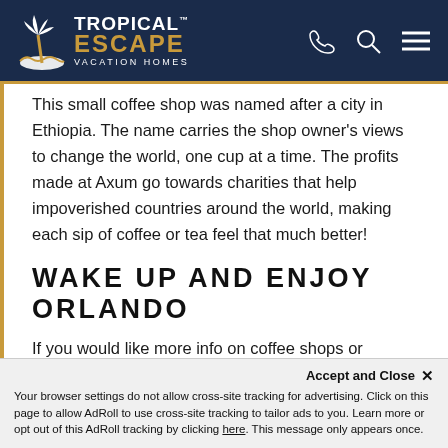TROPICAL™ ESCAPE VACATION HOMES
This small coffee shop was named after a city in Ethiopia. The name carries the shop owner's views to change the world, one cup at a time. The profits made at Axum go towards charities that help impoverished countries around the world, making each sip of coffee or tea feel that much better!
WAKE UP AND ENJOY ORLANDO
If you would like more info on coffee shops or
Accept and Close ✕
Your browser settings do not allow cross-site tracking for advertising. Click on this page to allow AdRoll to use cross-site tracking to tailor ads to you. Learn more or opt out of this AdRoll tracking by clicking here. This message only appears once.